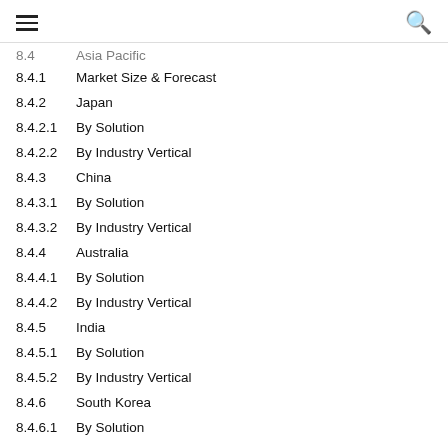≡   🔍
8.4   Asia Pacific
8.4.1   Market Size & Forecast
8.4.2   Japan
8.4.2.1 By Solution
8.4.2.2 By Industry Vertical
8.4.3   China
8.4.3.1 By Solution
8.4.3.2 By Industry Vertical
8.4.4   Australia
8.4.4.1 By Solution
8.4.4.2 By Industry Vertical
8.4.5   India
8.4.5.1 By Solution
8.4.5.2 By Industry Vertical
8.4.6   South Korea
8.4.6.1 By Solution